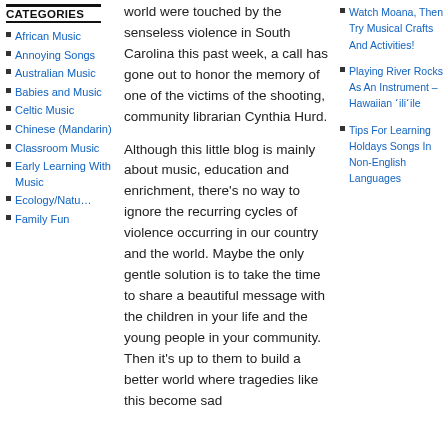CATEGORIES
African Music
Annoying Songs
Australian Music
Babies and Music
Celtic Music
Chinese (Mandarin)
Classroom Music
Early Learning With Music
Ecology/Natu…
Family Fun
world were touched by the senseless violence in South Carolina this past week, a call has gone out to honor the memory of one of the victims of the shooting, community librarian Cynthia Hurd.
Although this little blog is mainly about music, education and enrichment, there’s no way to ignore the recurring cycles of violence occurring in our country and the world. Maybe the only gentle solution is to take the time to share a beautiful message with the children in your life and the young people in your community. Then it’s up to them to build a better world where tragedies like this become sad
Watch Moana, Then Try Musical Crafts And Activities!
Playing River Rocks As An Instrument – Hawaiian ʻiliʻile
Tips For Learning Holdays Songs In Non-English Languages